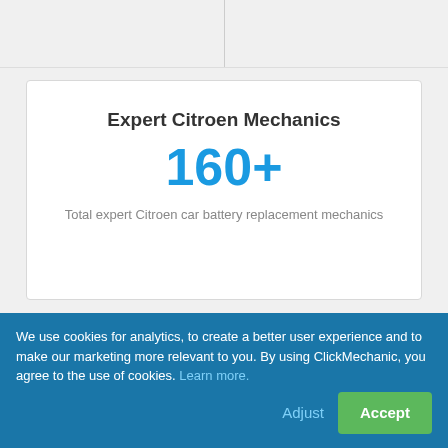Expert Citroen Mechanics
160+
Total expert Citroen car battery replacement mechanics
Number of Ratings
170
We use cookies for analytics, to create a better user experience and to make our marketing more relevant to you. By using ClickMechanic, you agree to the use of cookies. Learn more.